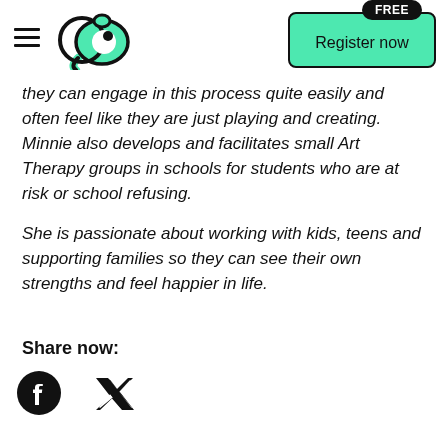CA logo | Register now (FREE)
they can engage in this process quite easily and often feel like they are just playing and creating. Minnie also develops and facilitates small Art Therapy groups in schools for students who are at risk or school refusing.
She is passionate about working with kids, teens and supporting families so they can see their own strengths and feel happier in life.
Share now:
[Figure (logo): Facebook and Twitter social media icons]